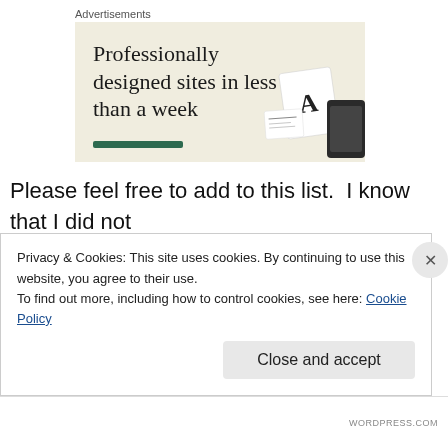Advertisements
[Figure (illustration): Advertisement banner with cream/beige background showing the headline 'Professionally designed sites in less than a week' in serif font, a green underline bar, and device mockup images on the right side.]
Please feel free to add to this list.  I know that I did not cover everything.
Privacy & Cookies: This site uses cookies. By continuing to use this website, you agree to their use.
To find out more, including how to control cookies, see here: Cookie Policy
Close and accept